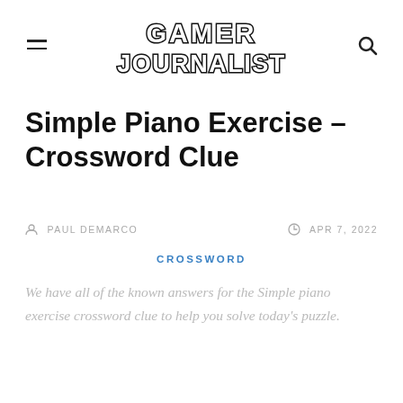GAMER JOURNALIST
Simple Piano Exercise – Crossword Clue
PAUL DEMARCO   APR 7, 2022
CROSSWORD
We have all of the known answers for the Simple piano exercise crossword clue to help you solve today's puzzle.